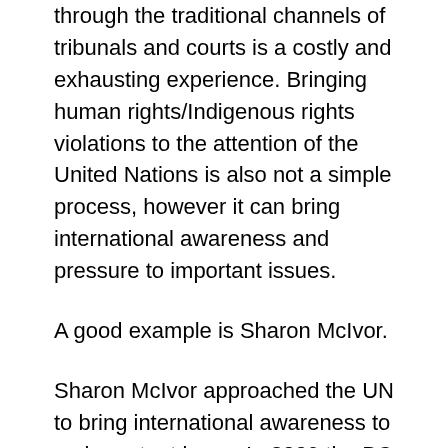through the traditional channels of tribunals and courts is a costly and exhausting experience. Bringing human rights/Indigenous rights violations to the attention of the United Nations is also not a simple process, however it can bring international awareness and pressure to important issues.
A good example is Sharon McIvor.
Sharon McIvor approached the UN to bring international awareness to an important issue. In 2009 the BC Court of Appeal found that the Indian Act discriminated against persons such as Sharon McIvor and her son by preventing them from passing on status. The court held that Parliament should correct this discrimination through legislation. Bill C-3 was introduced in March 2010...